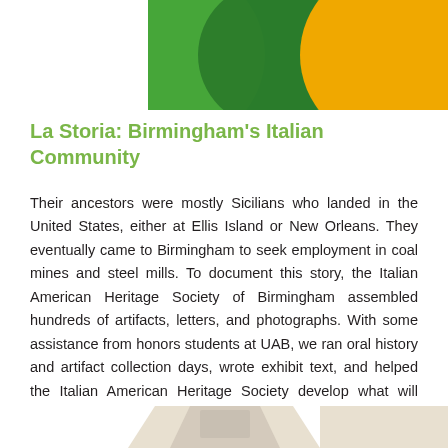[Figure (illustration): Decorative header graphic with overlapping green and yellow/gold circular and rectangular shapes on a white background]
La Storia: Birmingham's Italian Community
Their ancestors were mostly Sicilians who landed in the United States, either at Ellis Island or New Orleans. They eventually came to Birmingham to seek employment in coal mines and steel mills. To document this story, the Italian American Heritage Society of Birmingham assembled hundreds of artifacts, letters, and photographs. With some assistance from honors students at UAB, we ran oral history and artifact collection days, wrote exhibit text, and helped the Italian American Heritage Society develop what will eventually become a cost-effective permanent exhibit in their own museum.
[Figure (illustration): Decorative footer graphic with light beige/cream shapes on a white background]